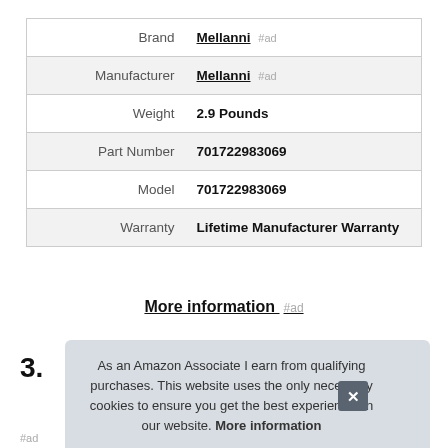|  |  |
| --- | --- |
| Brand | Mellanni #ad |
| Manufacturer | Mellanni #ad |
| Weight | 2.9 Pounds |
| Part Number | 701722983069 |
| Model | 701722983069 |
| Warranty | Lifetime Manufacturer Warranty |
More information #ad
3.
As an Amazon Associate I earn from qualifying purchases. This website uses the only necessary cookies to ensure you get the best experience on our website. More information
#ad